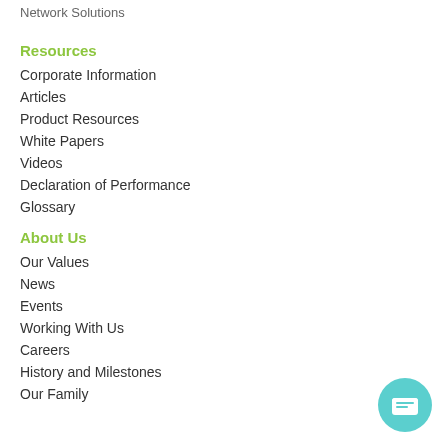Network Solutions
Resources
Corporate Information
Articles
Product Resources
White Papers
Videos
Declaration of Performance
Glossary
About Us
Our Values
News
Events
Working With Us
Careers
History and Milestones
Our Family